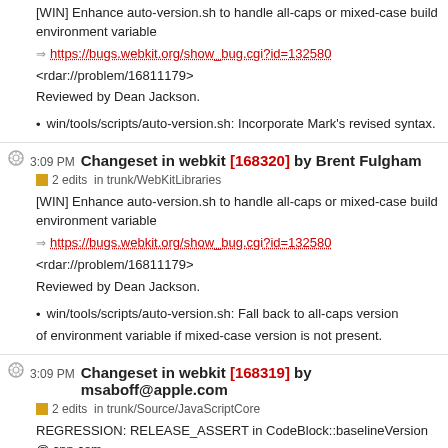[WIN] Enhance auto-version.sh to handle all-caps or mixed-case build environment variable
https://bugs.webkit.org/show_bug.cgi?id=132580
<rdar://problem/16811179>
Reviewed by Dean Jackson.
win/tools/scripts/auto-version.sh: Incorporate Mark's revised syntax.
3:09 PM Changeset in webkit [168320] by Brent Fulgham
2 edits in trunk/WebKitLibraries
[WIN] Enhance auto-version.sh to handle all-caps or mixed-case build environment variable
https://bugs.webkit.org/show_bug.cgi?id=132580
<rdar://problem/16811179>
Reviewed by Dean Jackson.
win/tools/scripts/auto-version.sh: Fall back to all-caps version of environment variable if mixed-case version is not present.
3:09 PM Changeset in webkit [168319] by msaboff@apple.com
2 edits in trunk/Source/JavaScriptCore
REGRESSION: RELEASE_ASSERT in CodeBlock::baselineVersion @ cnn.com
https://bugs.webkit.org/show_bug.cgi?id=132581
Reviewed by Filip Pizlo.